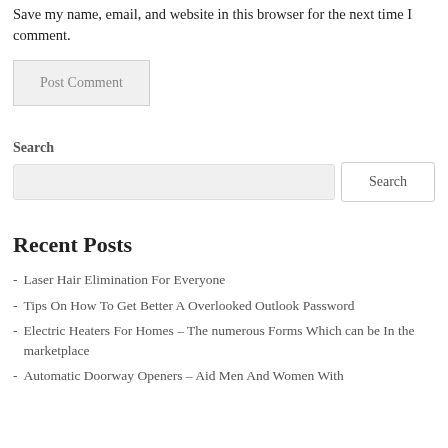Save my name, email, and website in this browser for the next time I comment.
Post Comment
Search
Search
Recent Posts
Laser Hair Elimination For Everyone
Tips On How To Get Better A Overlooked Outlook Password
Electric Heaters For Homes – The numerous Forms Which can be In the marketplace
Automatic Doorway Openers – Aid Men And Women With